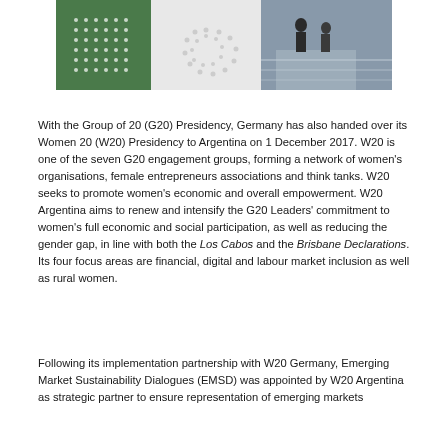[Figure (photo): Composite photo showing a green banner with white dot pattern on left, a circular dot logo on white background in center, and people walking in a modern building on the right.]
With the Group of 20 (G20) Presidency, Germany has also handed over its Women 20 (W20) Presidency to Argentina on 1 December 2017. W20 is one of the seven G20 engagement groups, forming a network of women's organisations, female entrepreneurs associations and think tanks. W20 seeks to promote women's economic and overall empowerment. W20 Argentina aims to renew and intensify the G20 Leaders' commitment to women's full economic and social participation, as well as reducing the gender gap, in line with both the Los Cabos and the Brisbane Declarations. Its four focus areas are financial, digital and labour market inclusion as well as rural women.
Following its implementation partnership with W20 Germany, Emerging Market Sustainability Dialogues (EMSD) was appointed by W20 Argentina as strategic partner to ensure representation of emerging markets